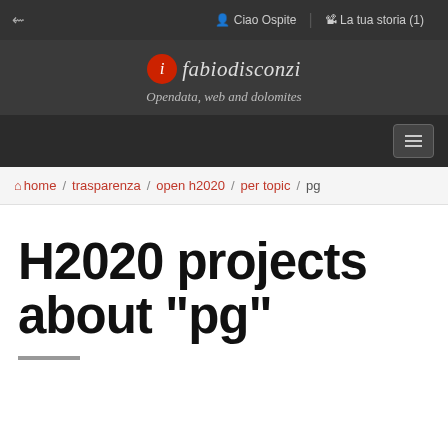share  Ciao Ospite  La tua storia (1)
[Figure (logo): fabiodisconzi logo - red circle with italic 'i', site name in italic and tagline 'Opendata, web and dolomites']
home / trasparenza / open h2020 / per topic / pg
H2020 projects about "pg"